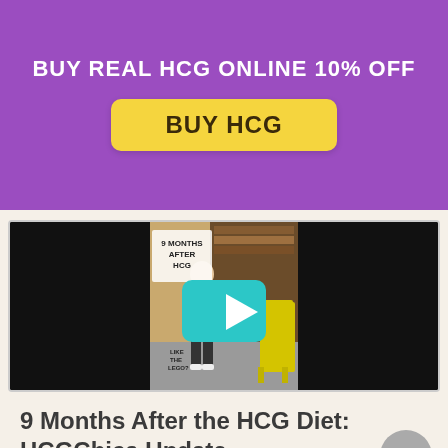BUY REAL HCG ONLINE 10% OFF
BUY HCG
[Figure (screenshot): Video thumbnail showing a woman standing in a room with a yellow rocking chair and bookcase. Text overlay reads '9 MONTHS AFTER HCG' and 'LIKE THE LEGO?'. A teal play button is centered on the video.]
9 Months After the HCG Diet: HCGChica Update